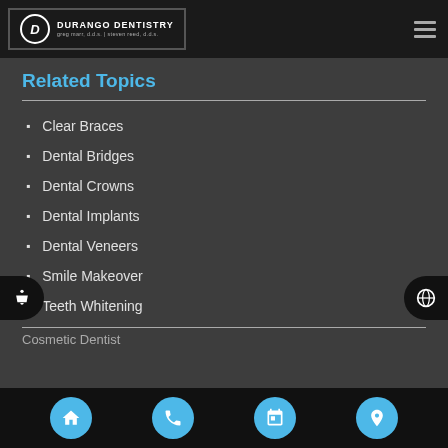DURANGO DENTISTRY greg marr, d.d.s. | steven reed, d.d.s.
Related Topics
Clear Braces
Dental Bridges
Dental Crowns
Dental Implants
Dental Veneers
Smile Makeover
Teeth Whitening
Cosmetic Dentist